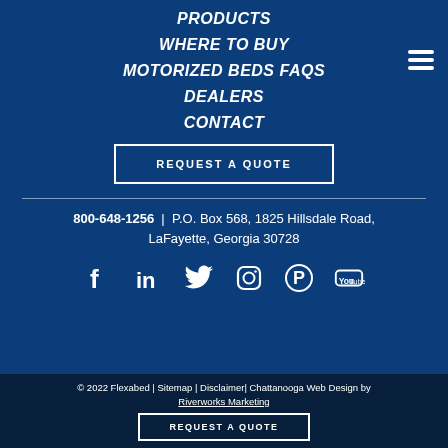PRODUCTS
WHERE TO BUY
MOTORIZED BEDS FAQS
DEALERS
CONTACT
REQUEST A QUOTE
800-648-1256  |  P.O. Box 568, 1825 Hillsdale Road, LaFayette, Georgia 30728
[Figure (illustration): Social media icons: Facebook, LinkedIn, Twitter, Instagram, Pinterest, YouTube]
© 2022 Flexabed | Sitemap | Disclaimer| Chattanooga Web Design by Riverworks Marketing
REQUEST A QUOTE